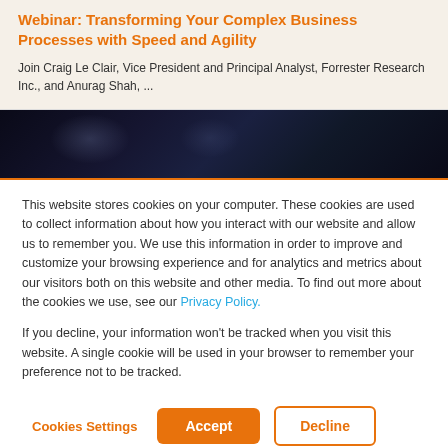Webinar: Transforming Your Complex Business Processes with Speed and Agility
Join Craig Le Clair, Vice President and Principal Analyst, Forrester Research Inc., and Anurag Shah, ...
[Figure (photo): Dark background image strip showing an abstract/tech scene with dark blues and purples]
This website stores cookies on your computer. These cookies are used to collect information about how you interact with our website and allow us to remember you. We use this information in order to improve and customize your browsing experience and for analytics and metrics about our visitors both on this website and other media. To find out more about the cookies we use, see our Privacy Policy.
If you decline, your information won't be tracked when you visit this website. A single cookie will be used in your browser to remember your preference not to be tracked.
Cookies Settings | Accept | Decline